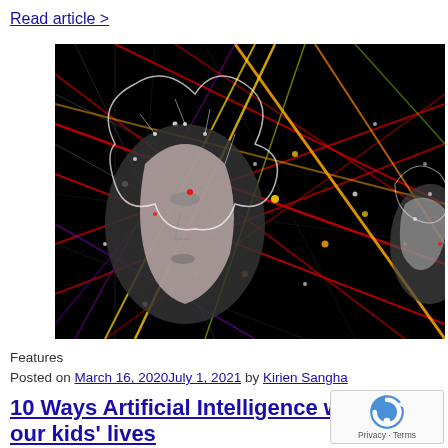Read article >
[Figure (illustration): Abstract digital art showing a human face in profile surrounded by colorful neural network lines and nodes on a black background, representing artificial intelligence]
Features
Posted on March 16, 2020July 1, 2021 by Kirien Sangha
10 Ways Artificial Intelligence will change our kids' lives